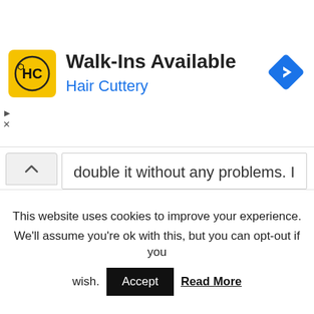[Figure (advertisement): Hair Cuttery ad banner with yellow logo featuring 'HC' text, title 'Walk-Ins Available', subtitle 'Hair Cuttery' in blue, and a blue diamond navigation icon on the right]
double it without any problems. I did not leave the lid on while cooking it. I hit it with just a sprinkle of cayenne and added almost 2 cups of raw broccoli the last 4 minutes of cooking to make a complete meal in one pan. Excellent, simple and easy.
This website uses cookies to improve your experience. We'll assume you're ok with this, but you can opt-out if you wish.
Accept   Read More